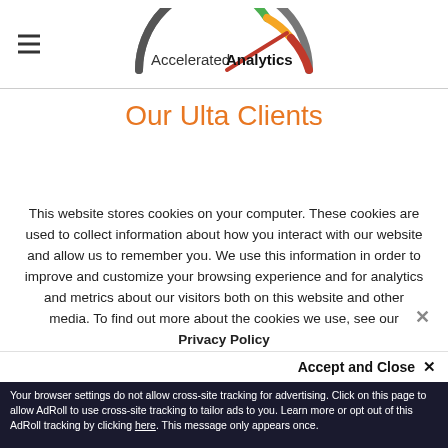Accelerated Analytics
Our Ulta Clients
This website stores cookies on your computer. These cookies are used to collect information about how you interact with our website and allow us to remember you. We use this information in order to improve and customize your browsing experience and for analytics and metrics about our visitors both on this website and other media. To find out more about the cookies we use, see our Privacy Policy
Accept and Close ✕
Your browser settings do not allow cross-site tracking for advertising. Click on this page to allow AdRoll to use cross-site tracking to tailor ads to you. Learn more or opt out of this AdRoll tracking by clicking here. This message only appears once.